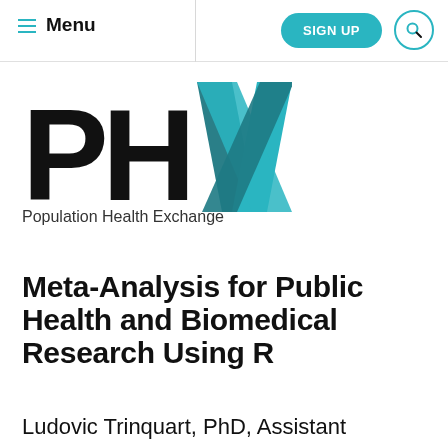Menu  |  SIGN UP
[Figure (logo): PHX logo — large bold black letters P and H, with a teal/cyan geometric X shape, followed by tagline 'Population Health Exchange']
Meta-Analysis for Public Health and Biomedical Research Using R
Ludovic Trinquart, PhD, Assistant